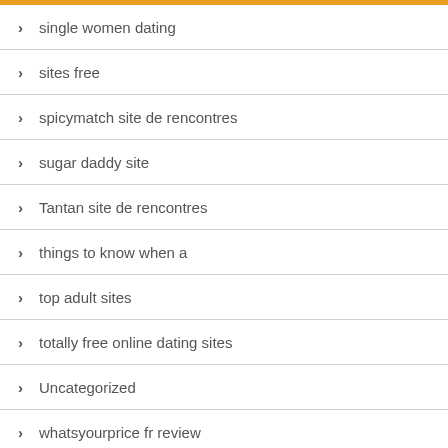single women dating
sites free
spicymatch site de rencontres
sugar daddy site
Tantan site de rencontres
things to know when a
top adult sites
totally free online dating sites
Uncategorized
whatsyourprice fr review
wives
xpress Anmeldung
zoosk vs match review